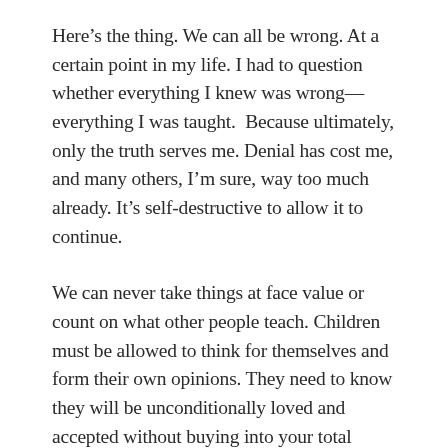Here’s the thing. We can all be wrong. At a certain point in my life. I had to question whether everything I knew was wrong—everything I was taught.  Because ultimately, only the truth serves me. Denial has cost me, and many others, I’m sure, way too much already. It’s self-destructive to allow it to continue.
We can never take things at face value or count on what other people teach. Children must be allowed to think for themselves and form their own opinions. They need to know they will be unconditionally loved and accepted without buying into your total mindset, without having to live the life you have envisioned for them.